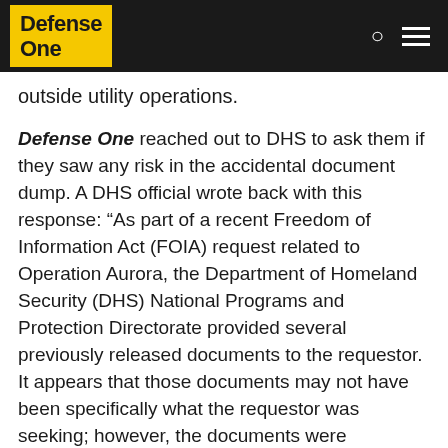Defense One
outside utility operations.
Defense One reached out to DHS to ask them if they saw any risk in the accidental document dump. A DHS official wrote back with this response: “As part of a recent Freedom of Information Act (FOIA) request related to Operation Aurora, the Department of Homeland Security (DHS) National Programs and Protection Directorate provided several previously released documents to the requestor. It appears that those documents may not have been specifically what the requestor was seeking; however, the documents were thoroughly reviewed for sensitive or classified information prior to their release to ensure that critical infrastructure security would not be compromised.”
Weiss calls the response “nonsense.”